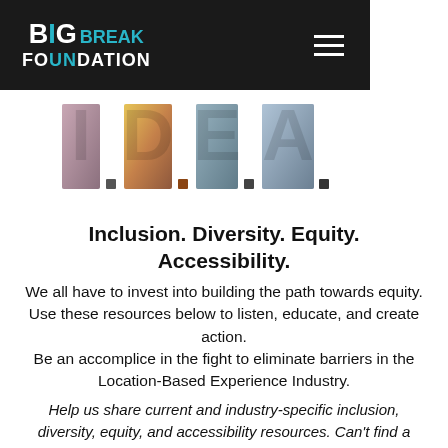Big Break Foundation
[Figure (illustration): I.D.E.A. logo with large letters filled with photos of diverse people]
Inclusion. Diversity. Equity. Accessibility.
We all have to invest into building the path towards equity. Use these resources below to listen, educate, and create action. Be an accomplice in the fight to eliminate barriers in the Location-Based Experience Industry.
Help us share current and industry-specific inclusion, diversity, equity, and accessibility resources. Can't find a